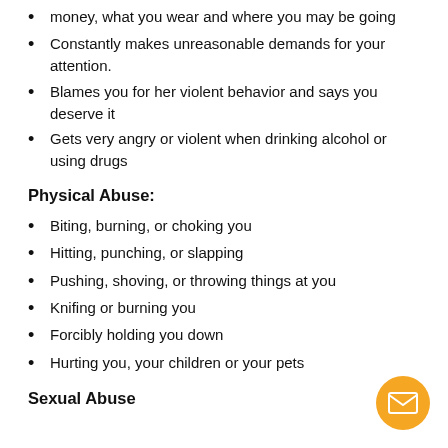money, what you wear and where you may be going
Constantly makes unreasonable demands for your attention.
Blames you for her violent behavior and says you deserve it
Gets very angry or violent when drinking alcohol or using drugs
Physical Abuse:
Biting, burning, or choking you
Hitting, punching, or slapping
Pushing, shoving, or throwing things at you
Knifing or burning you
Forcibly holding you down
Hurting you, your children or your pets
Sexual Abuse